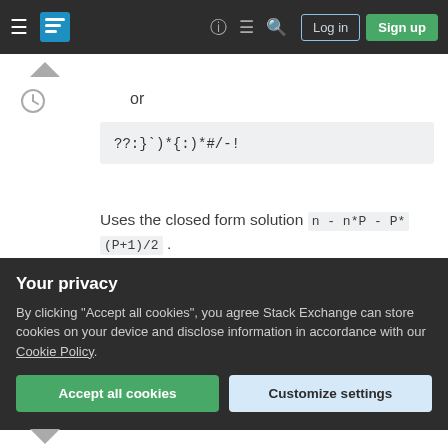[Figure (screenshot): Stack Exchange navigation bar with hamburger menu, logo, help icon, chat icon, search icon, Log in button, and Sign up button on dark background]
or
??:}`)*{:)*#/-!
Uses the closed form solution n - n*P - P*(P+1)/2 .
Share
Improve this answer
Follow
answered Sep 1, 2016 at 12:27
Martin Ender
194k 64 437 947
Your privacy
By clicking "Accept all cookies", you agree Stack Exchange can store cookies on your device and disclose information in accordance with our Cookie Policy.
Accept all cookies
Customize settings